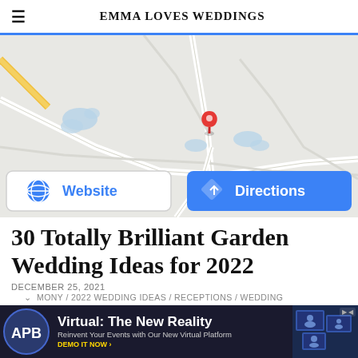EMMA LOVES WEDDINGS
[Figure (map): Google Maps screenshot showing a rural road map with a red location pin marker in the center, blue water features, and road network. Below the map are two buttons: 'Website' (white background, blue text with globe icon) and 'Directions' (blue background, white text with directions icon).]
30 Totally Brilliant Garden Wedding Ideas for 2022
DECEMBER 25, 2021
MONY / 2022 WEDDING IDEAS / RECEPTIONS / WEDDING
[Figure (advertisement): APB advertisement banner with dark background. Logo shows 'APB' letters. Headline reads 'Virtual: The New Reality'. Subtext: 'Reinvent Your Events with Our New Virtual Platform'. Call to action: 'DEMO IT NOW >']